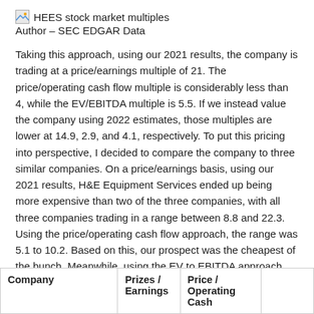HEES stock market multiples
Author – SEC EDGAR Data
Taking this approach, using our 2021 results, the company is trading at a price/earnings multiple of 21. The price/operating cash flow multiple is considerably less than 4, while the EV/EBITDA multiple is 5.5. If we instead value the company using 2022 estimates, those multiples are lower at 14.9, 2.9, and 4.1, respectively. To put this pricing into perspective, I decided to compare the company to three similar companies. On a price/earnings basis, using our 2021 results, H&E Equipment Services ended up being more expensive than two of the three companies, with all three companies trading in a range between 8.8 and 22.3. Using the price/operating cash flow approach, the range was 5.1 to 10.2. Based on this, our prospect was the cheapest of the bunch. Meanwhile, using the EV to EBITDA approach, the range is 5.1 to 9.8. Only one of the three companies was cheaper than our target.
| Company | Prizes / Earnings | Price / Operating Cash | EV / EBITDA |
| --- | --- | --- | --- |